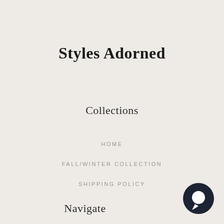Styles Adorned
Collections
HOME
FALL/WINTER COLLECTION
SHIPPING POLICY
Navigate
[Figure (illustration): Dark navy chat bubble icon in the bottom-right corner]